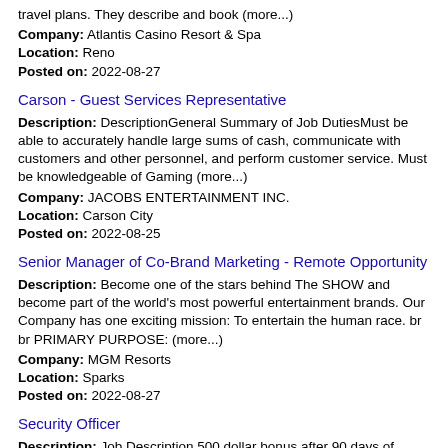travel plans. They describe and book (more...)
Company: Atlantis Casino Resort & Spa
Location: Reno
Posted on: 2022-08-27
Carson - Guest Services Representative
Description: DescriptionGeneral Summary of Job DutiesMust be able to accurately handle large sums of cash, communicate with customers and other personnel, and perform customer service. Must be knowledgeable of Gaming (more...)
Company: JACOBS ENTERTAINMENT INC.
Location: Carson City
Posted on: 2022-08-25
Senior Manager of Co-Brand Marketing - Remote Opportunity
Description: Become one of the stars behind The SHOW and become part of the world's most powerful entertainment brands. Our Company has one exciting mission: To entertain the human race. br br PRIMARY PURPOSE: (more...)
Company: MGM Resorts
Location: Sparks
Posted on: 2022-08-27
Security Officer
Description: Job Description 500 dollar bonus after 90 days of employment. General Summary of Job Duties Security Officer's